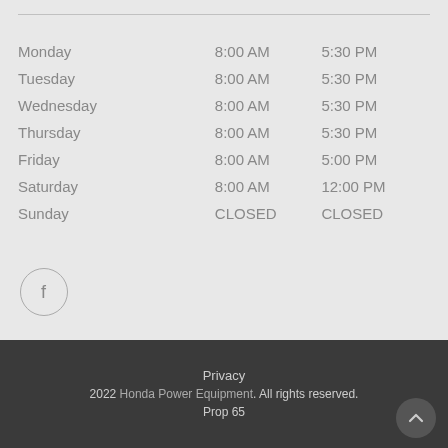| Day | Open | Close |
| --- | --- | --- |
| Monday | 8:00 AM | 5:30 PM |
| Tuesday | 8:00 AM | 5:30 PM |
| Wednesday | 8:00 AM | 5:30 PM |
| Thursday | 8:00 AM | 5:30 PM |
| Friday | 8:00 AM | 5:00 PM |
| Saturday | 8:00 AM | 12:00 PM |
| Sunday | CLOSED | CLOSED |
[Figure (other): Facebook social media icon — circle with letter f]
Privacy
2022 Honda Power Equipment. All rights reserved.
Prop 65